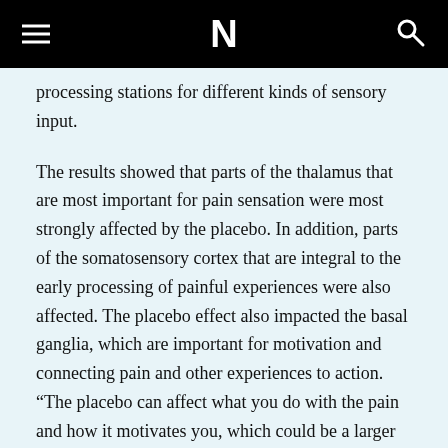N
processing stations for different kinds of sensory input.
The results showed that parts of the thalamus that are most important for pain sensation were most strongly affected by the placebo. In addition, parts of the somatosensory cortex that are integral to the early processing of painful experiences were also affected. The placebo effect also impacted the basal ganglia, which are important for motivation and connecting pain and other experiences to action. “The placebo can affect what you do with the pain and how it motivates you, which could be a larger part of what’s happening here,” says Wager. “It’s changing the circuitry that’s important for